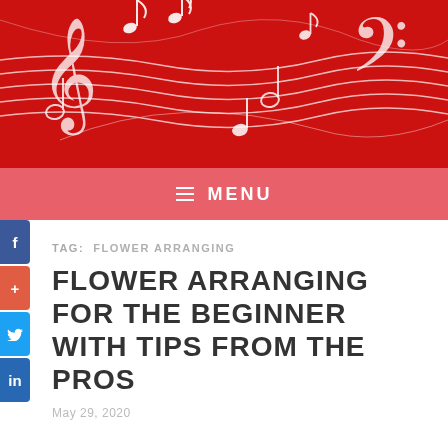[Figure (illustration): Red background with white musical notes, staff lines, treble clef, and bass clef decorative illustration]
≡ MENU
TAG: FLOWER ARRANGING
FLOWER ARRANGING FOR THE BEGINNER WITH TIPS FROM THE PROS
May 29, 2020